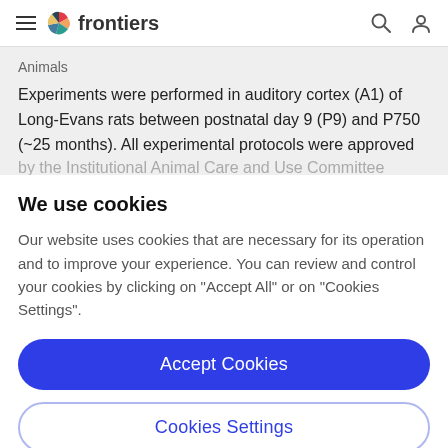frontiers
Animals
Experiments were performed in auditory cortex (A1) of Long-Evans rats between postnatal day 9 (P9) and P750 (~25 months). All experimental protocols were approved
We use cookies
Our website uses cookies that are necessary for its operation and to improve your experience. You can review and control your cookies by clicking on "Accept All" or on "Cookies Settings".
Accept Cookies
Cookies Settings